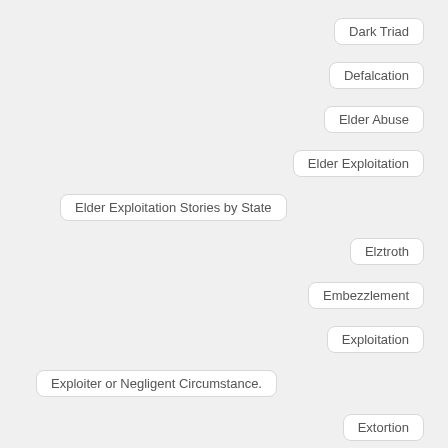Dark Triad
Defalcation
Elder Abuse
Elder Exploitation
Elder Exploitation Stories by State
Elztroth
Embezzlement
Exploitation
Exploiter or Negligent Circumstance.
Extortion
Felony Crime
Fentanly Addict